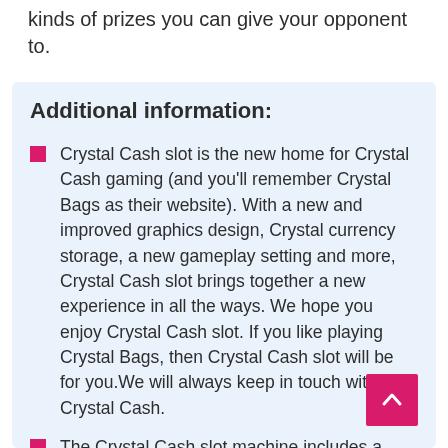kinds of prizes you can give your opponent to.
Additional information:
Crystal Cash slot is the new home for Crystal Cash gaming (and you'll remember Crystal Bags as their website). With a new and improved graphics design, Crystal currency storage, a new gameplay setting and more, Crystal Cash slot brings together a new experience in all the ways. We hope you enjoy Crystal Cash slot. If you like playing Crystal Bags, then Crystal Cash slot will be for you.We will always keep in touch with Crystal Cash.
The Crystal Cash slot machine includes a variety of designs and designs come in a variety of